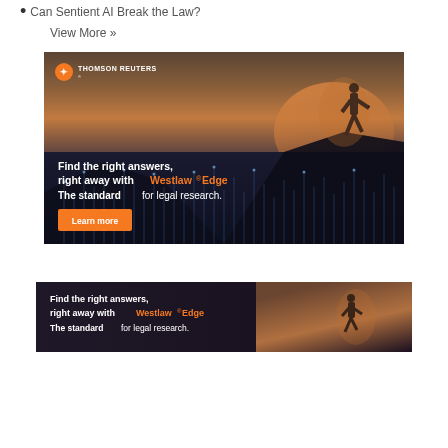Can Sentient AI Break the Law?
View More »
[Figure (illustration): Thomson Reuters advertisement banner: person standing on mountain peak at sunset, with digital data visualization overlay. Text reads 'Find the right answers, right away with Westlaw® Edge. The standard for legal research.' with a 'Learn more' button.]
[Figure (illustration): Second Thomson Reuters advertisement banner (partially visible): person standing at sunset. Text reads 'Find the right answers, right away with Westlaw® Edge. The standard for legal research.']